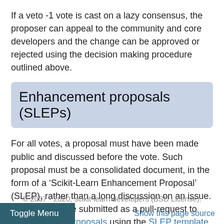If a veto -1 vote is cast on a lazy consensus, the proposer can appeal to the community and core developers and the change can be approved or rejected using the decision making procedure outlined above.
Enhancement proposals (SLEPs)
For all votes, a proposal must have been made public and discussed before the vote. Such proposal must be a consolidated document, in the form of a ‘Scikit-Learn Enhancement Proposal’ (SLEP), rather than a long discussion on an issue. A SLEP must be submitted as a pull-request to enhancement proposals using the SLEP template.
© 2007 - 2020, scikit-learn developers (BSD License).
Toggle Menu
Show this page source